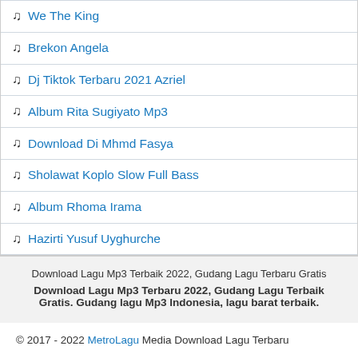We The King
Brekon Angela
Dj Tiktok Terbaru 2021 Azriel
Album Rita Sugiyato Mp3
Download Di Mhmd Fasya
Sholawat Koplo Slow Full Bass
Album Rhoma Irama
Hazirti Yusuf Uyghurche
Download Lagu Mp3 Terbaik 2022, Gudang Lagu Terbaru Gratis Download Lagu Mp3 Terbaru 2022, Gudang Lagu Terbaik Gratis. Gudang lagu Mp3 Indonesia, lagu barat terbaik.
© 2017 - 2022 MetroLagu Media Download Lagu Terbaru